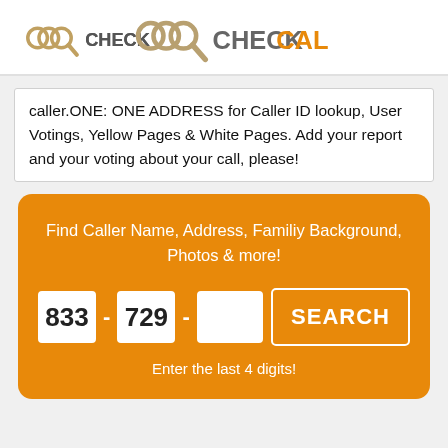[Figure (logo): Check Caller logo with magnifying glass icon and text CHECK CALLER in gray and orange]
caller.ONE: ONE ADDRESS for Caller ID lookup, User Votings, Yellow Pages & White Pages. Add your report and your voting about your call, please!
[Figure (infographic): Orange search panel with tagline 'Find Caller Name, Address, Familiy Background, Photos & more!' and phone number search fields pre-filled with 833-729- and a SEARCH button, plus hint 'Enter the last 4 digits!']